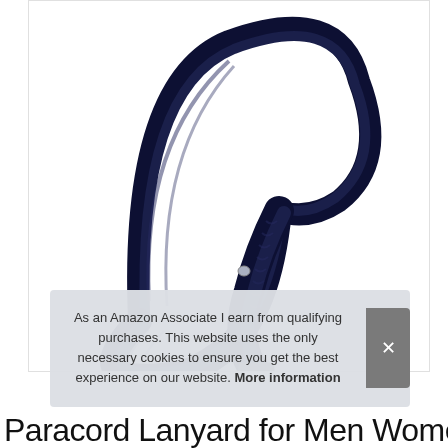[Figure (photo): A dark navy blue paracord lanyard with braided rope body and metal clip/carabiner attachment at the bottom, shown on white background.]
As an Amazon Associate I earn from qualifying purchases. This website uses the only necessary cookies to ensure you get the best experience on our website. More information
Paracord Lanyard for Men Women,